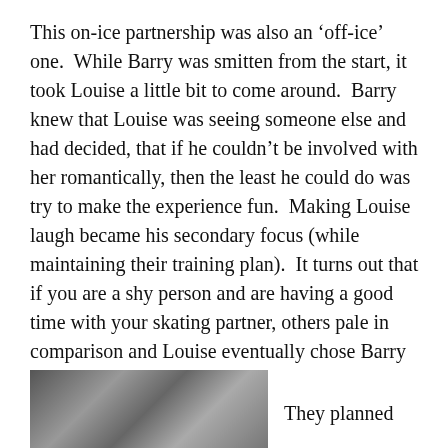This on-ice partnership was also an ‘off-ice’ one.  While Barry was smitten from the start, it took Louise a little bit to come around.  Barry knew that Louise was seeing someone else and had decided, that if he couldn’t be involved with her romantically, then the least he could do was try to make the experience fun.  Making Louise laugh became his secondary focus (while maintaining their training plan).  It turns out that if you are a shy person and are having a good time with your skating partner, others pale in comparison and Louise eventually chose Barry as her ‘off-ice partner’, too.
[Figure (photo): Black and white photograph, partially visible at bottom left of the page]
They planned